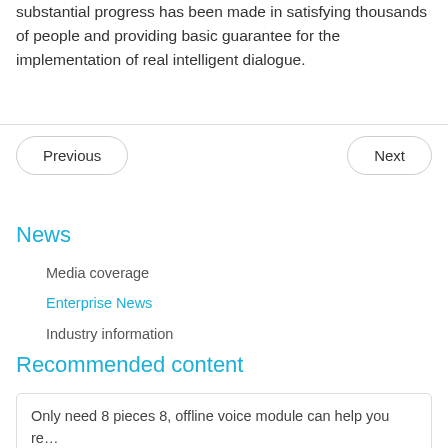substantial progress has been made in satisfying thousands of people and providing basic guarantee for the implementation of real intelligent dialogue.
Previous
Next
News
Media coverage
Enterprise News
Industry information
Recommended content
Only need 8 pieces 8, offline voice module can help you re…